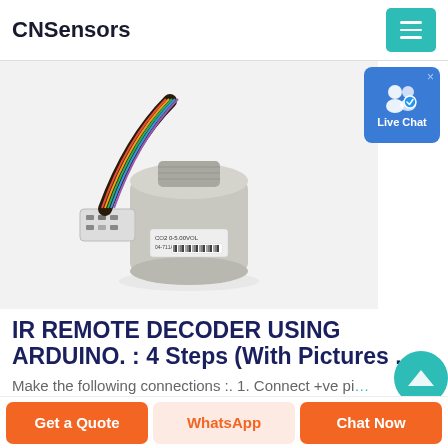CNSensors
[Figure (photo): A cylindrical metal (stainless steel) sensor with multi-colored wires and a connector, labeled CO2 0-5.00VOL, with a barcode on a white background.]
[Figure (other): Live Chat button widget with blue background and user icon]
IR REMOTE DECODER USING ARDUINO. : 4 Steps (With Pictures ...
Make the following connections :. 1. Connect +ve pi...
Get a Quote
WhatsApp
Chat Now